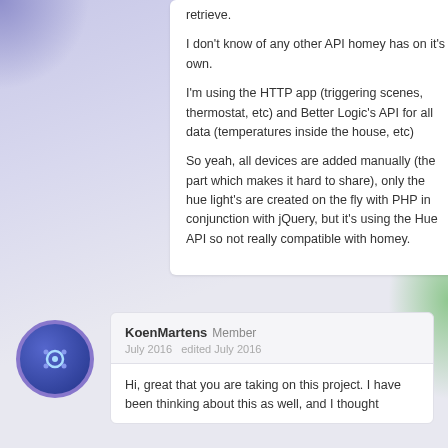retrieve.
I don't know of any other API homey has on it's own.

I'm using the HTTP app (triggering scenes, thermostat, etc) and Better Logic's API for all data (temperatures inside the house, etc)

So yeah, all devices are added manually (the part which makes it hard to share), only the hue light's are created on the fly with PHP in conjunction with jQuery, but it's using the Hue API so not really compatible with homey.
[Figure (illustration): User avatar: circular icon with dark blue background and light blue controller/settings icon, surrounded by purple border ring]
KoenMartens Member
July 2016   edited July 2016
Hi, great that you are taking on this project. I have been thinking about this as well, and I thought